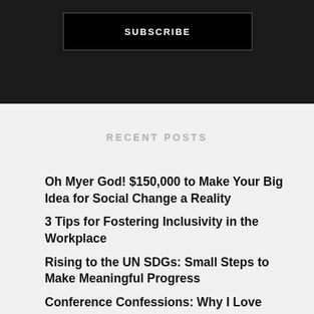[Figure (other): Black background section with a SUBSCRIBE button]
RECENT POSTS
Oh Myer God! $150,000 to Make Your Big Idea for Social Change a Reality
3 Tips for Fostering Inclusivity in the Workplace
Rising to the UN SDGs: Small Steps to Make Meaningful Progress
Conference Confessions: Why I Love [continues below]